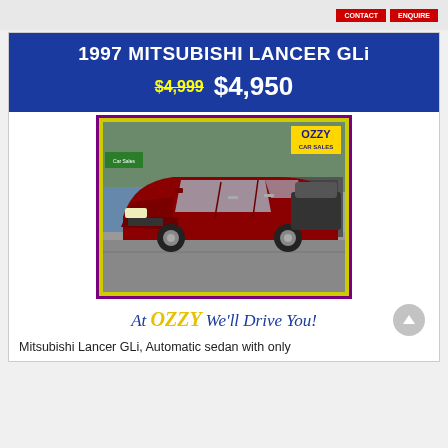1997 MITSUBISHI LANCER GLi
$4,999  $4,950
[Figure (photo): Red 1997 Mitsubishi Lancer GLi sedan photographed at Ozzy Car Sales dealership lot. Car faces forward-left angle. Yellow border around photo with purple outer border. Ozzy Car Sales logo visible in top right corner of photo.]
At OZZY We'll Drive You!
Mitsubishi Lancer GLi, Automatic sedan with only